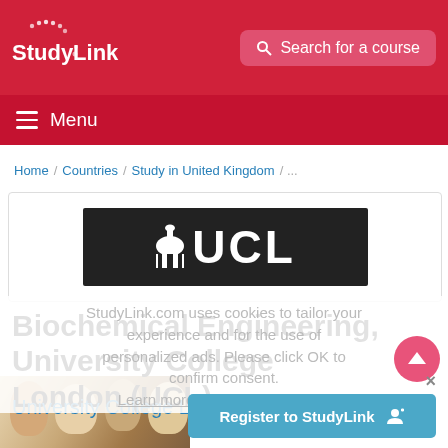StudyLink — Search for a course
Menu
Home / Countries / Study in United Kingdom / ...
[Figure (logo): UCL (University College London) logo — white text on black background with dome icon]
StudyLink.com uses cookies to tailor your experience and for the use of personalized ads. Please click OK to confirm consent. Learn more in our privacy policy
Biochemical Engineering, University College London (UCL)
University College London (UCL)
the United Kingdom
OK
[Figure (photo): Photo of smiling students at the bottom of the page]
Register to StudyLink